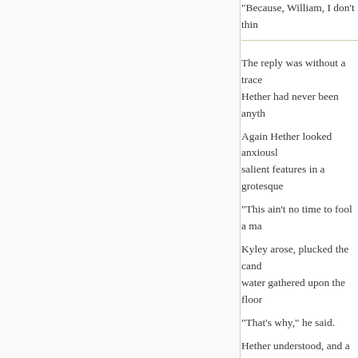“Because, William, I don’t thin…
The reply was without a trace… Hether had never been anyth…
Again Hether looked anxiousl… salient features in a grotesqu…
“This ain’t no time to fool a ma…
Kyley arose, plucked the cand… water gathered upon the floor…
“That’s why,” he said.
Hether understood, and a cry…
“Keep it back, Dick!” he gaspe…
“William,” said Kyley, calmly r… the face, as usual. The fall ha… ears. And you know what that…
“But you can build a dam arou…